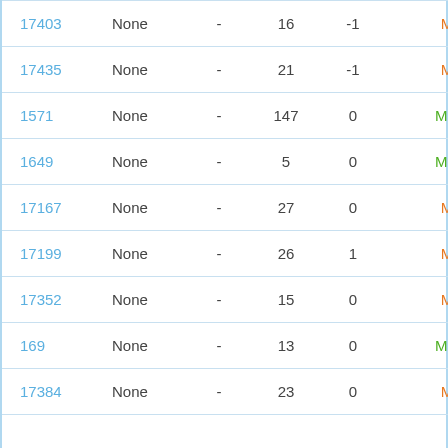| 17403 | None | - | 16 | -1 | Manual |
| 17435 | None | - | 21 | -1 | Manual |
| 1571 | None | - | 147 | 0 | Manual* |
| 1649 | None | - | 5 | 0 | Manual* |
| 17167 | None | - | 27 | 0 | Manual |
| 17199 | None | - | 26 | 1 | Manual |
| 17352 | None | - | 15 | 0 | Manual |
| 169 | None | - | 13 | 0 | Manual* |
| 17384 | None | - | 23 | 0 | Manual |